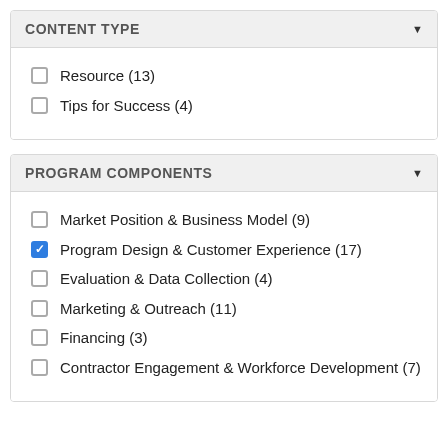CONTENT TYPE
Resource (13)
Tips for Success (4)
PROGRAM COMPONENTS
Market Position & Business Model (9)
Program Design & Customer Experience (17)
Evaluation & Data Collection (4)
Marketing & Outreach (11)
Financing (3)
Contractor Engagement & Workforce Development (7)